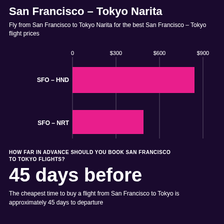San Francisco – Tokyo Narita
Fly from San Francisco to Tokyo Narita for the best San Francisco – Tokyo flight prices
[Figure (bar-chart): Flight prices SFO to Tokyo]
HOW FAR IN ADVANCE SHOULD YOU BOOK SAN FRANCISCO TO TOKYO FLIGHTS?
45 days before
The cheapest time to buy a flight from San Francisco to Tokyo is approximately 45 days to departure